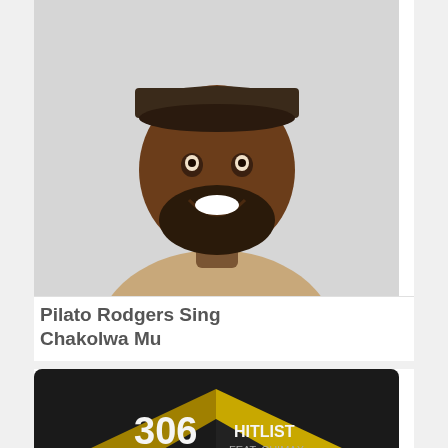[Figure (photo): Portrait photo of a smiling bearded man wearing a flat cap and beige jacket]
Pilato Rodgers Sing Chakolwa Mu
[Figure (photo): Album artwork for 306 Hit List featuring three people and text '306 HITLIST' and 'TOMMY D' in yellow lettering on dark background]
306 Hit List Catchy Vibes Feeling Like
[Figure (photo): Thumbnail image for Cleo Ice Queen article]
Cleo Ice Queen